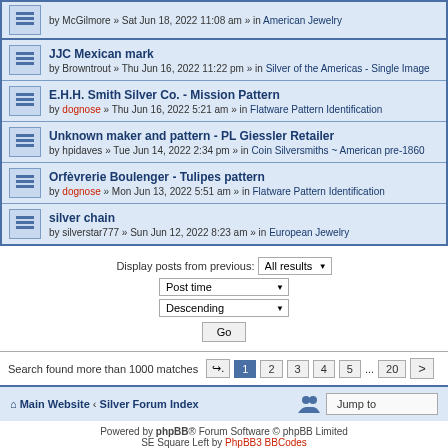by McGilmore » Sat Jun 18, 2022 11:08 am » in American Jewelry
JJC Mexican mark — by Browntrout » Thu Jun 16, 2022 11:22 pm » in Silver of the Americas - Single Image
E.H.H. Smith Silver Co. - Mission Pattern — by dognose » Thu Jun 16, 2022 5:21 am » in Flatware Pattern Identification
Unknown maker and pattern - PL Giessler Retailer — by hpidaves » Tue Jun 14, 2022 2:34 pm » in Coin Silversmiths ~ American pre-1860
Orfèvrerie Boulenger - Tulipes pattern — by dognose » Mon Jun 13, 2022 5:51 am » in Flatware Pattern Identification
silver chain — by silverstar777 » Sun Jun 12, 2022 8:23 am » in European Jewelry
Display posts from previous: All results
Post time
Descending
Go
Search found more than 1000 matches   1  2  3  4  5  ...  20  >
Main Website · Silver Forum Index
Powered by phpBB® Forum Software © phpBB Limited
SE Square Left by PhpBB3 BBCodes